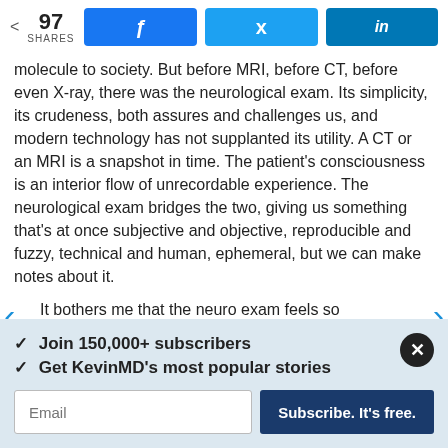97 SHARES | Facebook | Twitter | LinkedIn
molecule to society. But before MRI, before CT, before even X-ray, there was the neurological exam. Its simplicity, its crudeness, both assures and challenges us, and modern technology has not supplanted its utility. A CT or an MRI is a snapshot in time. The patient's consciousness is an interior flow of unrecordable experience. The neurological exam bridges the two, giving us something that's at once subjective and objective, reproducible and fuzzy, technical and human, ephemeral, but we can make notes about it.
It bothers me that the neuro exam feels so rudimentary and momentary, as if I'm some cleric in a Russian novel, with a white cassock and enigmatic oils. I trained for this. There is
✓ Join 150,000+ subscribers
✓ Get KevinMD's most popular stories